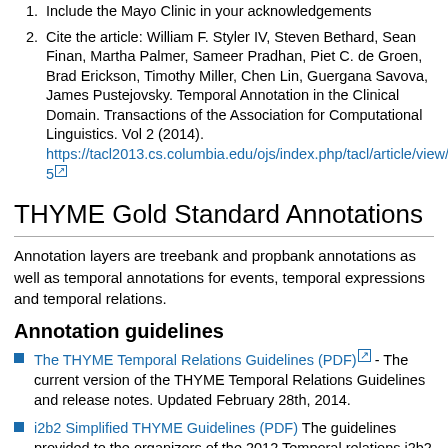Include the Mayo Clinic in your acknowledgements
Cite the article: William F. Styler IV, Steven Bethard, Sean Finan, Martha Palmer, Sameer Pradhan, Piet C. de Groen, Brad Erickson, Timothy Miller, Chen Lin, Guergana Savova, James Pustejovsky. Temporal Annotation in the Clinical Domain. Transactions of the Association for Computational Linguistics. Vol 2 (2014). https://tacl2013.cs.columbia.edu/ojs/index.php/tacl/article/view/305
THYME Gold Standard Annotations
Annotation layers are treebank and propbank annotations as well as temporal annotations for events, temporal expressions and temporal relations.
Annotation guidelines
The THYME Temporal Relations Guidelines (PDF) - The current version of the THYME Temporal Relations Guidelines and release notes. Updated February 28th, 2014.
i2b2 Simplified THYME Guidelines (PDF) The guidelines provided to the organizers of the 2012 Temporal relations i2b2 challenge for consideration during planning. They reflect an earlier stage of our guidelines.